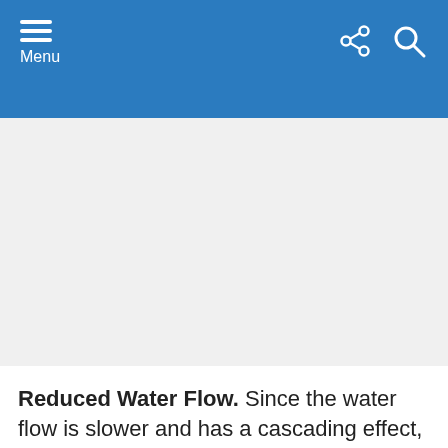Menu
[Figure (photo): Light gray placeholder image area, blank/empty content]
Reduced Water Flow. Since the water flow is slower and has a cascading effect, some find this undesirable and insufficient when washing their hands...